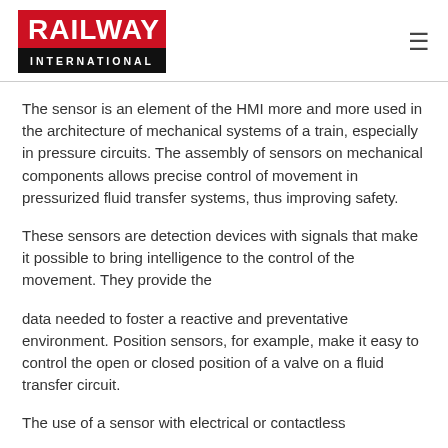[Figure (logo): Railway International logo — red box with white bold text RAILWAY above black box with white spaced text INTERNATIONAL]
The sensor is an element of the HMI more and more used in the architecture of mechanical systems of a train, especially in pressure circuits. The assembly of sensors on mechanical components allows precise control of movement in pressurized fluid transfer systems, thus improving safety.
These sensors are detection devices with signals that make it possible to bring intelligence to the control of the movement. They provide the
data needed to foster a reactive and preventative environment. Position sensors, for example, make it easy to control the open or closed position of a valve on a fluid transfer circuit.
The use of a sensor with electrical or contactless